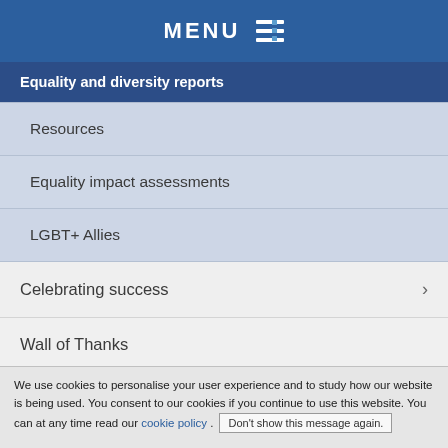MENU
Equality and diversity reports
Resources
Equality impact assessments
LGBT+ Allies
Celebrating success
Wall of Thanks
Freedom of information
We use cookies to personalise your user experience and to study how our website is being used. You consent to our cookies if you continue to use this website. You can at any time read our cookie policy . Don't show this message again.